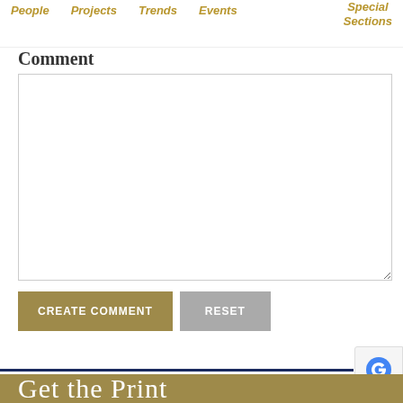People  Projects  Trends  Events  Special Sections
Comment
[Figure (screenshot): Large empty comment text area input box with resize handle at bottom right]
CREATE COMMENT    RESET
[Figure (screenshot): reCAPTCHA badge partially visible at bottom right]
Get the Print